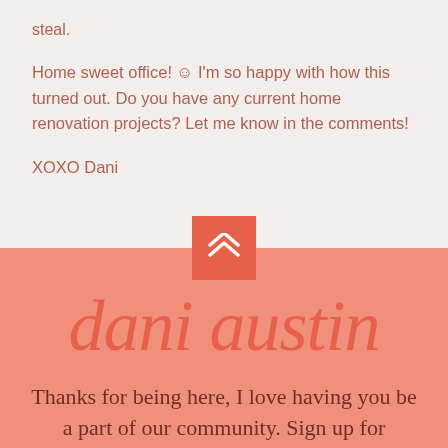steal.
Home sweet office! ☺ I'm so happy with how this turned out. Do you have any current home renovation projects? Let me know in the comments!
XOXO Dani
[Figure (other): Salmon/coral colored square button with double upward chevron arrows (scroll to top button)]
dani austin
Thanks for being here, I love having you be a part of our community. Sign up for